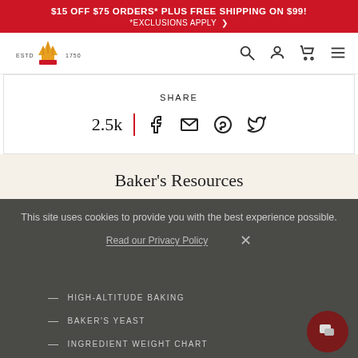$15 OFF $75 ORDERS* PLUS FREE SHIPPING ON $99! *EXCLUSIONS APPLY >
[Figure (logo): King Arthur Flour logo with crown/wheat icon, ESTD 1750]
[Figure (infographic): Social share bar: 2.5k shares with Facebook, Email, Pinterest, Twitter icons]
Baker's Resources
— RECIPE SUCCESS GUIDE
This site uses cookies to provide you with the best experience possible.
— HIGH-ALTITUDE BAKING
Read our Privacy Policy
— BAKER'S YEAST
— INGREDIENT WEIGHT CHART